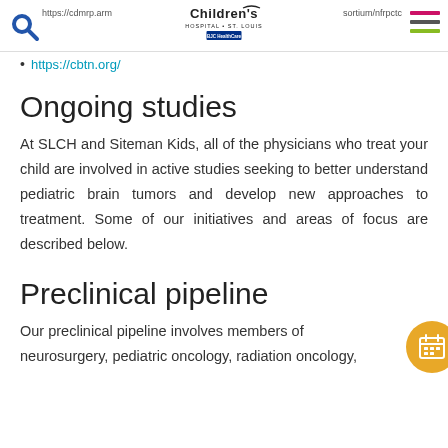https://cdmrp.arm...  [Children's Hospital St. Louis logo]  https://cbtn.org/consortium/nfrpctc
https://cbtn.org/
Ongoing studies
At SLCH and Siteman Kids, all of the physicians who treat your child are involved in active studies seeking to better understand pediatric brain tumors and develop new approaches to treatment. Some of our initiatives and areas of focus are described below.
Preclinical pipeline
Our preclinical pipeline involves members of neurosurgery, pediatric oncology, radiation oncology,